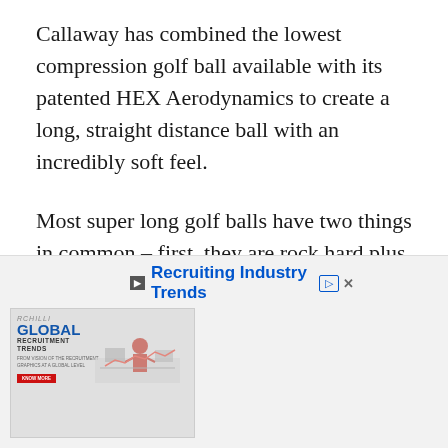Callaway has combined the lowest compression golf ball available with its patented HEX Aerodynamics to create a long, straight distance ball with an incredibly soft feel.
Most super long golf balls have two things in common – first, they are rock hard plus they have a lot of sidespin with the driver.
However, the Trinomer blend HEX design cover
[Figure (other): Advertisement banner for RCHilli Global Recruitment Trends with an illustration and text 'Recruiting Industry Trends']